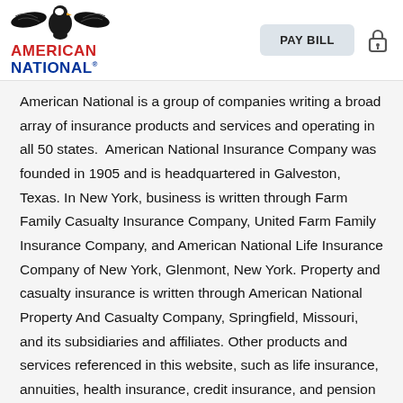American National | PAY BILL
American National is a group of companies writing a broad array of insurance products and services and operating in all 50 states. American National Insurance Company was founded in 1905 and is headquartered in Galveston, Texas. In New York, business is written through Farm Family Casualty Insurance Company, United Farm Family Insurance Company, and American National Life Insurance Company of New York, Glenmont, New York. Property and casualty insurance is written through American National Property And Casualty Company, Springfield, Missouri, and its subsidiaries and affiliates. Other products and services referenced in this website, such as life insurance, annuities, health insurance, credit insurance, and pension products, are written through multiple companies. Not all products